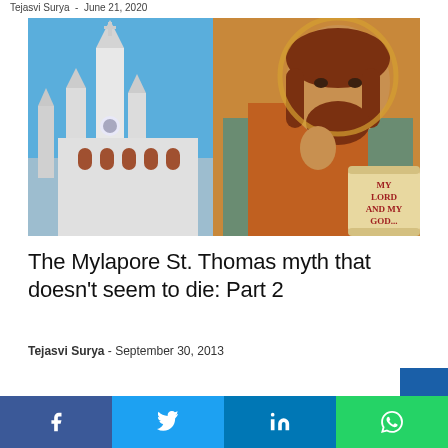Tejasvi Surya  -  June 21, 2020
[Figure (photo): Composite image of a white Gothic church with tall spires against a blue sky on the left, and an Eastern Orthodox-style icon of Jesus Christ holding a scroll reading 'MY LORD AND MY GOD' on the right.]
The Mylapore St. Thomas myth that doesn't seem to die: Part 2
Tejasvi Surya - September 30, 2013